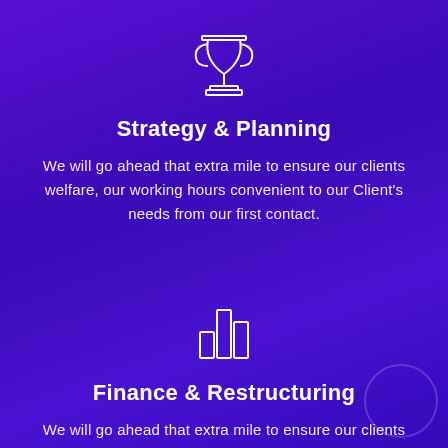[Figure (illustration): Trophy/cup icon outline in white]
Strategy & Planning
We will go ahead that extra mile to ensure our clients welfare, our working hours convenient to our Client's needs from our first contact.
[Figure (illustration): Bar chart icon outline in white]
Finance & Restructuring
We will go ahead that extra mile to ensure our clients welfare, our working hours convenient to our Client's needs from our first contact.